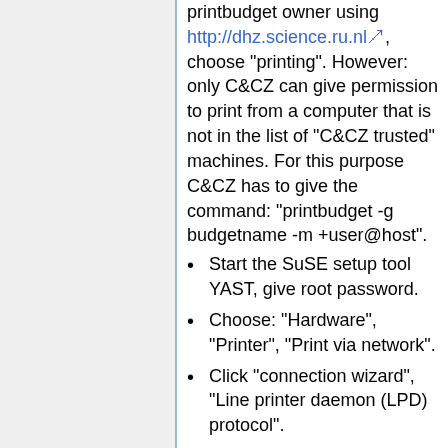printbudget owner using http://dhz.science.ru.nl, choose "printing". However: only C&CZ can give permission to print from a computer that is not in the list of "C&CZ trusted" machines. For this purpose C&CZ has to give the command: "printbudget -g budgetname -m +user@host".
Start the SuSE setup tool YAST, give root password.
Choose: "Hardware", "Printer", "Print via network".
Click "connection wizard", "Line printer daemon (LPD) protocol".
In "Connection settings, IP Address or Host name" enter "printsmb.science.ru.nl".
Enter queue name: "hertz" (or any other network printer).